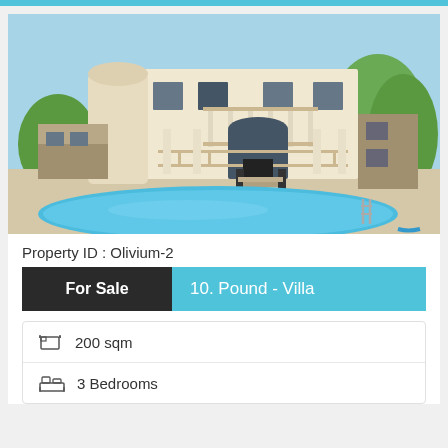[Figure (photo): Exterior photo of a two-story white villa with circular balcony, columns, arched entryway, and a large oval swimming pool in the foreground. Surrounded by trees and blue sky.]
Property ID : Olivium-2
For Sale   10. Pound - Villa
200 sqm
3 Bedrooms